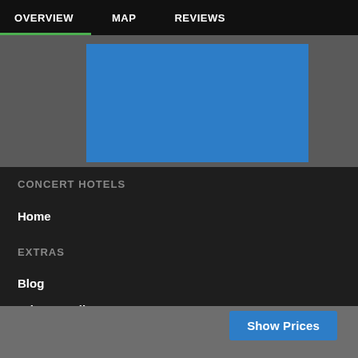OVERVIEW  MAP  REVIEWS
[Figure (other): Blue rectangular image placeholder area on gray background]
CONCERT HOTELS
Home
EXTRAS
Blog
Privacy Policy
Show Prices